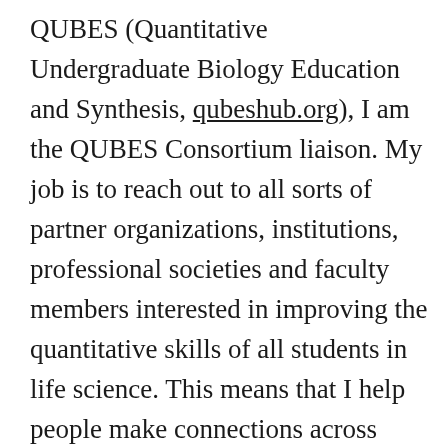QUBES (Quantitative Undergraduate Biology Education and Synthesis, qubeshub.org), I am the QUBES Consortium liaison. My job is to reach out to all sorts of partner organizations, institutions, professional societies and faculty members interested in improving the quantitative skills of all students in life science. This means that I help people make connections across disciplinary silos, travel to conferences, hold leaderships positions in interdisciplinary undergraduate mathematics education, help write collaborative grants, manage budgets, manage communications, and assist in forming strategic partnership agreements. It turns out